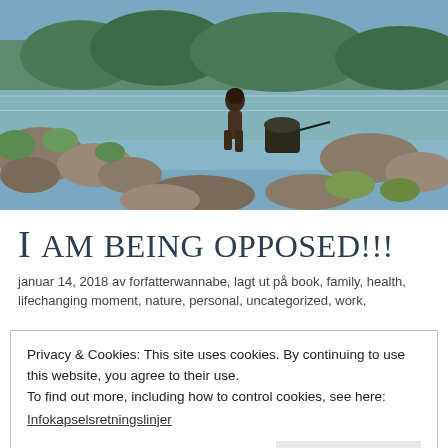[Figure (photo): Outdoor nature photo showing a person sitting at the edge of a clear mountain lake or river, surrounded by rocks and green vegetation. The person is shirtless and appears to be sitting near water with some equipment nearby. Bright sunny day with blue water and trees in the background.]
I AM BEING OPPOSED!!!
januar 14, 2018 av forfatterwannabe, lagt ut på book, family, health, lifechanging moment, nature, personal, uncategorized, work,
Privacy & Cookies: This site uses cookies. By continuing to use this website, you agree to their use.
To find out more, including how to control cookies, see here:
Infokapselsretningslinjer
Lukk og aksepter